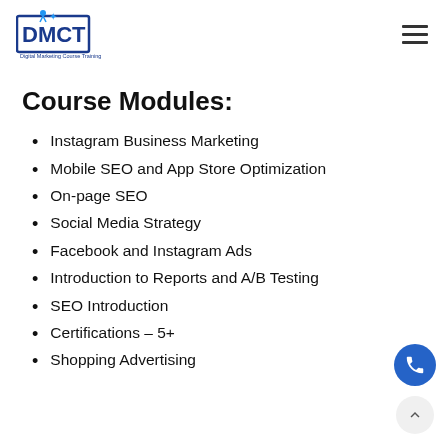DMCT Digital Marketing Course Training
Course Modules:
Instagram Business Marketing
Mobile SEO and App Store Optimization
On-page SEO
Social Media Strategy
Facebook and Instagram Ads
Introduction to Reports and A/B Testing
SEO Introduction
Certifications – 5+
Shopping Advertising